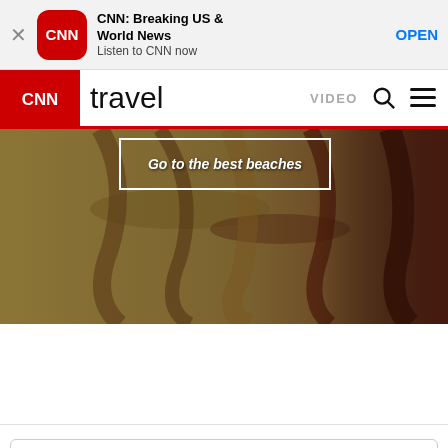[Figure (screenshot): App store banner for CNN: Breaking US & World News app with close button, CNN icon, app name, tagline 'Listen to CNN now', and OPEN button]
CNN travel  VIDEO
[Figure (photo): Aerial beach photo with overlaid text 'Go to the best beaches' inside a white border box]
Search CNN...